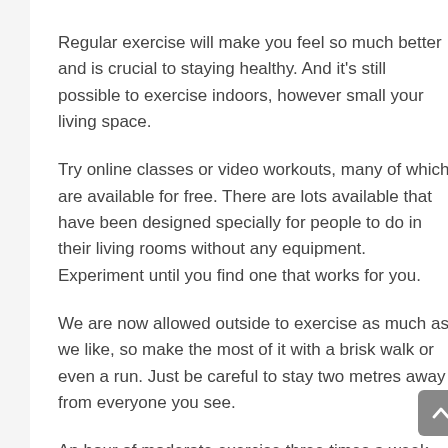Regular exercise will make you feel so much better and is crucial to staying healthy. And it's still possible to exercise indoors, however small your living space.
Try online classes or video workouts, many of which are available for free. There are lots available that have been designed specially for people to do in their living rooms without any equipment. Experiment until you find one that works for you.
We are now allowed outside to exercise as much as we like, so make the most of it with a brisk walk or even a run. Just be careful to stay two metres away from everyone you see.
An hour of moderate exercise three times a week could make a huge difference to your fitness levels